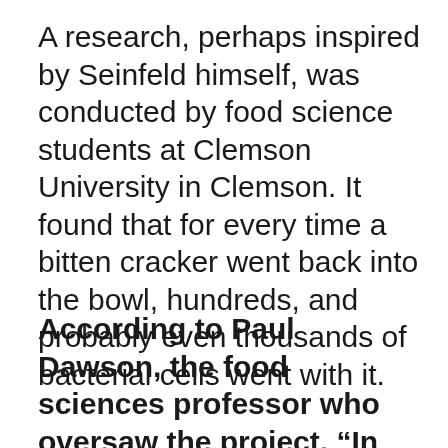A research, perhaps inspired by Seinfeld himself, was conducted by food science students at Clemson University in Clemson. It found that for every time a bitten cracker went back into the bowl, hundreds, and probably even thousands of bacterial cells went with it.
According to Paul Dawson, the food sciences professor who oversaw the project, “In the real world, if you have dip out there, you’re probably going to have more than one person…